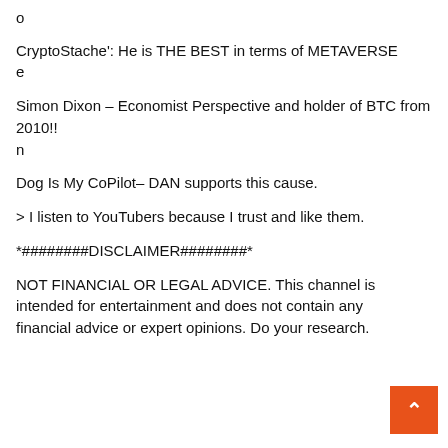o
CryptoStache': He is THE BEST in terms of METAVERSE
e
Simon Dixon – Economist Perspective and holder of BTC from 2010!!
n
Dog Is My CoPilot– DAN supports this cause.
> I listen to YouTubers because I trust and like them.
*########DISCLAIMER########*
NOT FINANCIAL OR LEGAL ADVICE. This channel is intended for entertainment and does not contain any financial advice or expert opinions. Do your research.